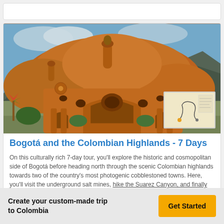[Figure (photo): Orange clay building (Casa Terracotta style) with rounded organic architecture set against mountain background with blue sky]
[Figure (map): Small map thumbnail showing a route through Colombia]
Bogotá and the Colombian Highlands - 7 Days
On this culturally rich 7-day tour, you'll explore the historic and cosmopolitan side of Bogotá before heading north through the scenic Colombian highlands towards two of the country's most photogenic cobblestoned towns. Here, you'll visit the underground salt mines, hike the Suarez Canyon, and finally explore the Spanish Colonial
Create your custom-made trip to Colombia
Get Started